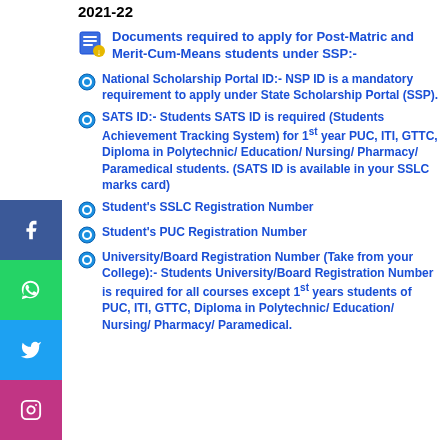2021-22
Documents required to apply for Post-Matric and Merit-Cum-Means students under SSP:-
National Scholarship Portal ID:- NSP ID is a mandatory requirement to apply under State Scholarship Portal (SSP).
SATS ID:- Students SATS ID is required (Students Achievement Tracking System) for 1st year PUC, ITI, GTTC, Diploma in Polytechnic/ Education/ Nursing/ Pharmacy/ Paramedical students. (SATS ID is available in your SSLC marks card)
Student's SSLC Registration Number
Student's PUC Registration Number
University/Board Registration Number (Take from your College):- Students University/Board Registration Number is required for all courses except 1st years students of PUC, ITI, GTTC, Diploma in Polytechnic/ Education/ Nursing/ Pharmacy/ Paramedical.